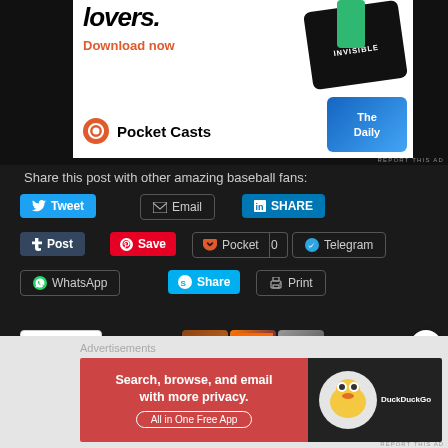[Figure (screenshot): Pocket Casts advertisement banner showing 'lovers.' heading, 'Download now' in orange, Pocket Casts logo, and podcast app card overlays (99% Invisible, The Daily)]
Share this post with other amazing baseball fans:
[Figure (screenshot): Social sharing buttons: Tweet, Email, SHARE (LinkedIn), Post (Tumblr), Save (Pinterest), Pocket with 0 count, Telegram, WhatsApp, Share (Skype), Print]
[Figure (screenshot): Like button with star icon and three user avatars]
[Figure (screenshot): DuckDuckGo advertisement: 'Search, browse, and email with more privacy. All in One Free App' with DuckDuckGo duck logo]